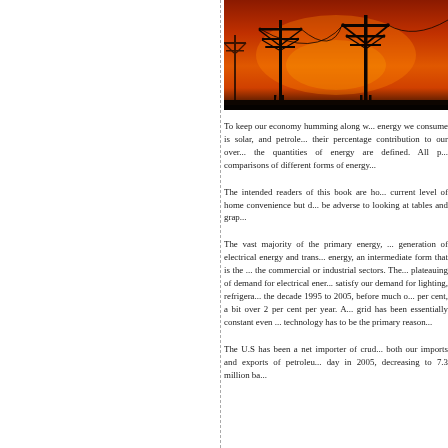[Figure (photo): Silhouette of electrical power transmission towers and infrastructure against a vivid orange and red sunset sky.]
To keep our economy humming along w... energy we consume is solar, and petrole... their percentage contribution to our over... the quantities of energy are defined. All p... comparisons of different forms of energy...
The intended readers of this book are ho... current level of home convenience but d... be adverse to looking at tables and grap...
The vast majority of the primary energy, ... generation of electrical energy and trans... energy, an intermediate form that is the ... the commercial or industrial sectors. The... plateauing of demand for electrical ener... satisfy our demand for lighting, refrigera... the decade 1995 to 2005, before much o... per cent, a bit over 2 per cent per year. A... grid has been essentially constant even ... technology has to be the primary reason...
The U.S has been a net importer of crud... both our imports and exports of petroleu... day in 2005, decreasing to 7.3 million ba... barrels per day in 2007, a 8.3 million ba...